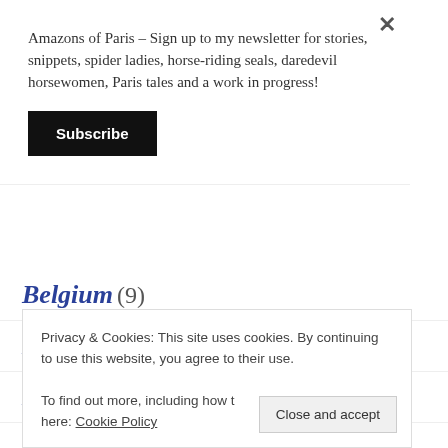Amazons of Paris – Sign up to my newsletter for stories, snippets, spider ladies, horse-riding seals, daredevil horsewomen, Paris tales and a work in progress!
Subscribe
Belgium (9)
Berlin (40)
Bestiality and Zoophilia (3)
Privacy & Cookies: This site uses cookies. By continuing to use this website, you agree to their use. To find out more, including how to control cookies, see here: Cookie Policy
Close and accept
Breeds of horse (2)